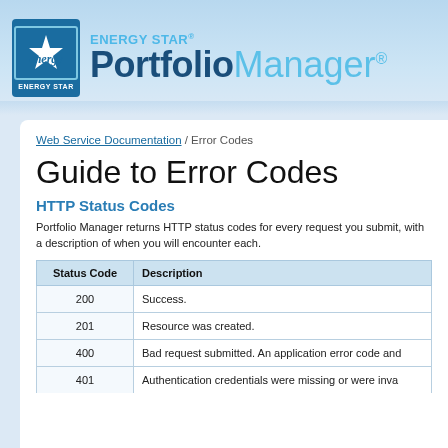[Figure (logo): ENERGY STAR Portfolio Manager logo with blue star icon and text]
Web Service Documentation / Error Codes
Guide to Error Codes
HTTP Status Codes
Portfolio Manager returns HTTP status codes for every request you submit, with a description of when you will encounter each.
| Status Code | Description |
| --- | --- |
| 200 | Success. |
| 201 | Resource was created. |
| 400 | Bad request submitted. An application error code and... |
| 401 | Authentication credentials were missing or were inva... |